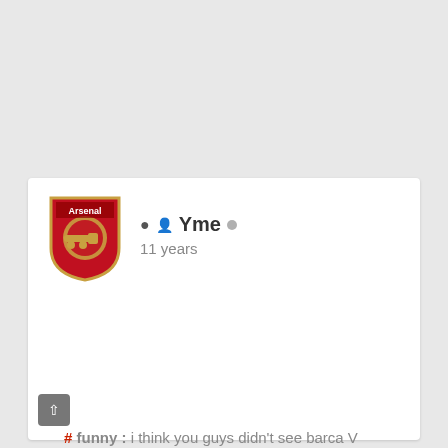[Figure (logo): Arsenal FC crest logo - red shield with cannon]
Yme
11 years
# funny : i think you guys didn't see barca V MAN.UTD. that game was Messi all the way. ronaldinho is fat ...no doubt.(he PLAYED good when he played for Barca) Cristiano is a big head.kaka PLAYED good but he isn't that good anymore (maybe because he's getting old?) i have to say:Messi all the way...